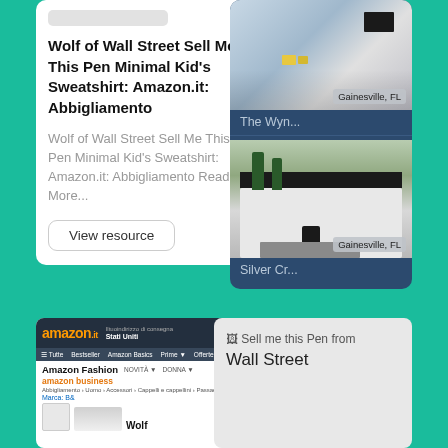Wolf of Wall Street Sell Me This Pen Minimal Kid's Sweatshirt: Amazon.it: Abbigliamento
Wolf of Wall Street Sell Me This Pen Minimal Kid's Sweatshirt: Amazon.it: Abbigliamento Read More...
View resource
[Figure (screenshot): Property listing card showing two real estate photos for Gainesville, FL. Top image shows an interior with kitchen/living area. Bottom image shows exterior of a modern building. Labels: 'The Wyn...' and 'Silver Cr...']
[Figure (screenshot): Amazon.it product page screenshot showing Amazon Fashion section with Amazon Business logo, breadcrumb navigation, and Wolf sweatshirt product listing]
[Figure (screenshot): Broken image placeholder with text 'Sell me this Pen from Wall Street']